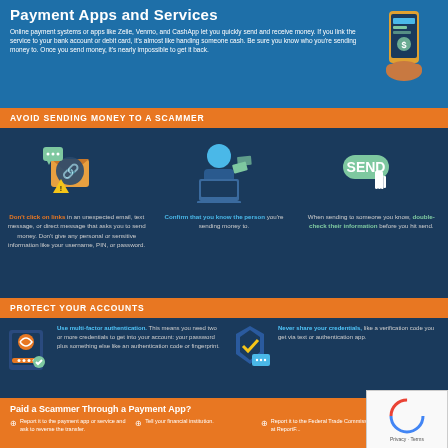Payment Apps and Services
Online payment systems or apps like Zelle, Venmo, and CashApp let you quickly send and receive money. If you link the service to your bank account or debit card, it's almost like handing someone cash. Be sure you know who you're sending money to. Once you send money, it's nearly impossible to get it back.
AVOID SENDING MONEY TO A SCAMMER
Don't click on links in an unexpected email, text message, or direct message that asks you to send money. Don't give any personal or sensitive information like your username, PIN, or password.
Confirm that you know the person you're sending money to.
When sending to someone you know, double-check their information before you hit send.
PROTECT YOUR ACCOUNTS
Use multi-factor authentication. This means you need two or more credentials to get into your account: your password plus something else like an authentication code or fingerprint.
Never share your credentials, like a verification code you get via text or authentication app.
Set up alerts in the payment app to get transaction notifications outside of the app environment, such as via email or text.
Regularly check your payment app and bank accounts to make sure no unauthorized payments have been sent from or accepted by your account.
Paid a Scammer Through a Payment App?
Report it to the payment app or service and ask to reverse the transfer.
Tell your financial institution.
Report it to the Federal Trade Commission at ReportFraud.ftc.gov